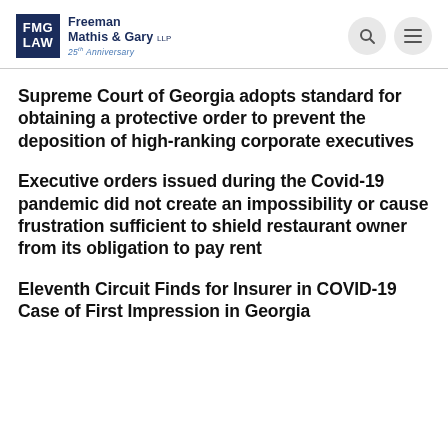[Figure (logo): FMG LAW - Freeman Mathis & Gary LLP 25th Anniversary logo with search and menu icons]
Supreme Court of Georgia adopts standard for obtaining a protective order to prevent the deposition of high-ranking corporate executives
Executive orders issued during the Covid-19 pandemic did not create an impossibility or cause frustration sufficient to shield restaurant owner from its obligation to pay rent
Eleventh Circuit Finds for Insurer in COVID-19 Case of First Impression in Georgia